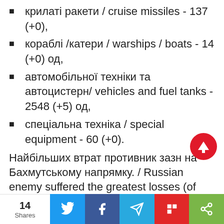крилаті ракети / cruise missiles - 137 (+0),
кораблі /катери / warships / boats - 14 (+0) од,
автомобільної техніки та автоцистерн/ vehicles and fuel tanks - 2548 (+5) од,
спеціальна техніка / special equipment - 60 (+0).
Найбільших втрат противник зазн на Бахмутському напрямку. / Russian enemy suffered the greatest losses (of
14 Shares